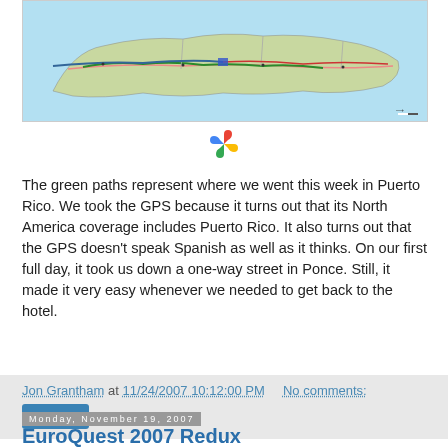[Figure (map): Map of Puerto Rico with green route paths overlaid on roads, showing travel routes taken during the week.]
[Figure (logo): Picasa or Google Photos colorful pinwheel icon]
The green paths represent where we went this week in Puerto Rico. We took the GPS because it turns out that its North America coverage includes Puerto Rico. It also turns out that the GPS doesn't speak Spanish as well as it thinks. On our first full day, it took us down a one-way street in Ponce. Still, it made it very easy whenever we needed to get back to the hotel.
Jon Grantham at 11/24/2007 10:12:00 PM   No comments:
Monday, November 19, 2007
EuroQuest 2007 Redux